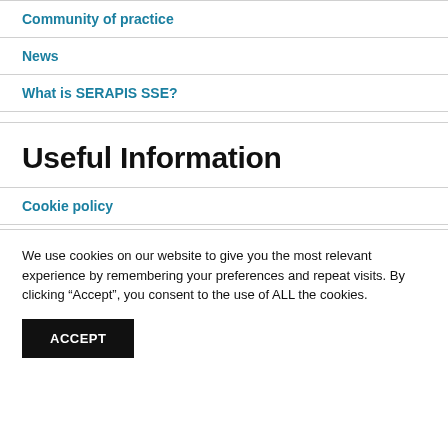Community of practice
News
What is SERAPIS SSE?
Useful Information
Cookie policy
We use cookies on our website to give you the most relevant experience by remembering your preferences and repeat visits. By clicking “Accept”, you consent to the use of ALL the cookies.
ACCEPT